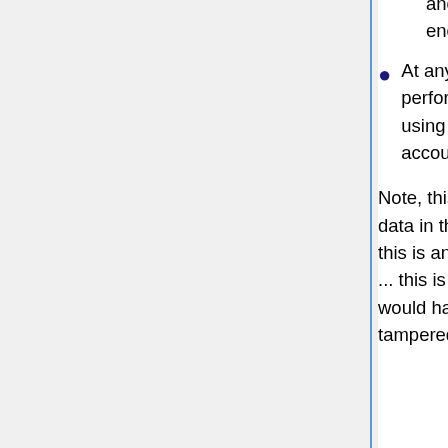and then writes to the BPD in encrypted form, using the user's guid and encryption key.
At any point when the user wishes to verify his assets on the webiste, he performs a READ operation with his guid, and then decrypts his balances using his decryption key. He can then validate his current and previous account.
Note, this system does not reduce the security of the website, because all data in the BPD is encrypted (we assume the user's computer is trojan-free - if this is an issue, the user may opt-out of receiving a copy of his encryption key ... this is still preferable to not using a BPD, because at least the site's owner would have a sure way of authenticating the ledger, that can't be deleted or tampered